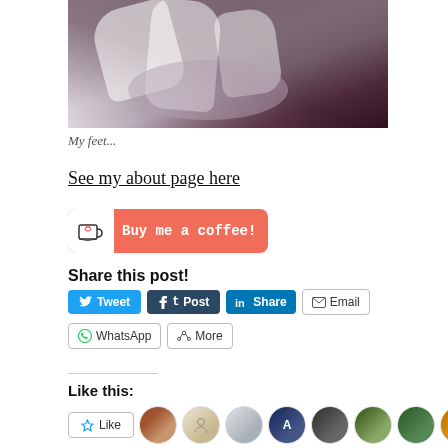[Figure (photo): Cropped photo of feet/legs in white fabric or clothing, with dark reddish-purple background]
My feet...
See my about page here
[Figure (other): Buy me a coffee! button with coffee cup icon on red/coral background]
Share this post!
Tweet
Post
Share
Email
WhatsApp
More
Like this:
[Figure (other): Like button and row of user avatars/profile pictures]